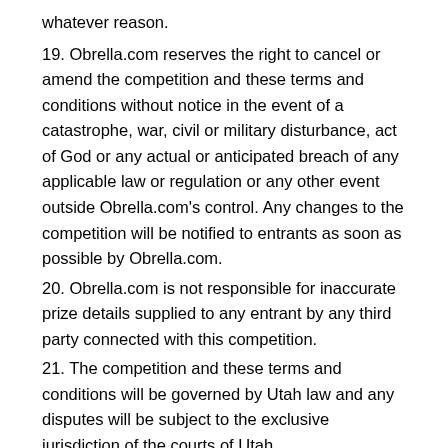whatever reason.
19. Obrella.com reserves the right to cancel or amend the competition and these terms and conditions without notice in the event of a catastrophe, war, civil or military disturbance, act of God or any actual or anticipated breach of any applicable law or regulation or any other event outside Obrella.com's control. Any changes to the competition will be notified to entrants as soon as possible by Obrella.com.
20. Obrella.com is not responsible for inaccurate prize details supplied to any entrant by any third party connected with this competition.
21. The competition and these terms and conditions will be governed by Utah law and any disputes will be subject to the exclusive jurisdiction of the courts of Utah.
22. This promotion is in no way sponsored, endorsed or administered by, or associated with, Facebook, Twitter or any other social network. You are providing your information to